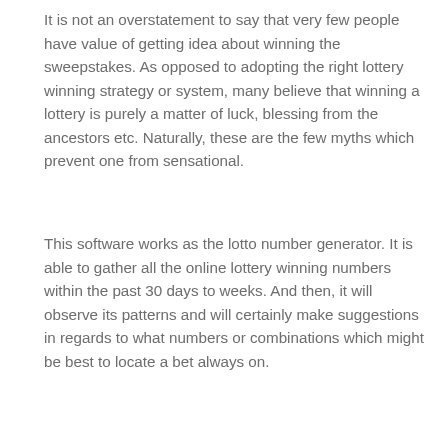It is not an overstatement to say that very few people have value of getting idea about winning the sweepstakes. As opposed to adopting the right lottery winning strategy or system, many believe that winning a lottery is purely a matter of luck, blessing from the ancestors etc. Naturally, these are the few myths which prevent one from sensational.
This software works as the lotto number generator. It is able to gather all the online lottery winning numbers within the past 30 days to weeks. And then, it will observe its patterns and will certainly make suggestions in regards to what numbers or combinations which might be best to locate a bet always on.